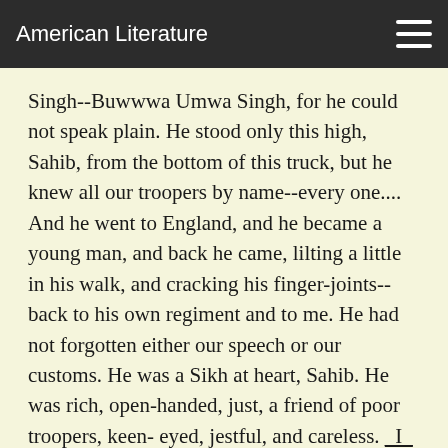American Literature
Singh--Buwwwa Umwa Singh, for he could not speak plain. He stood only this high, Sahib, from the bottom of this truck, but he knew all our troopers by name--every one.... And he went to England, and he became a young man, and back he came, lilting a little in his walk, and cracking his finger-joints--back to his own regiment and to me. He had not forgotten either our speech or our customs. He was a Sikh at heart, Sahib. He was rich, open-handed, just, a friend of poor troopers, keen- eyed, jestful, and careless. _I_ could tell tales about him in his first years. There was very little he hid from _me_. I was his Umr Singh, and when we were alone he called